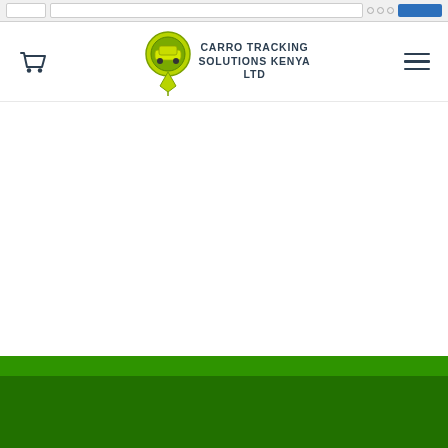Browser navigation bar (partial screenshot)
[Figure (logo): Carro Tracking Solutions Kenya Ltd logo — a map pin icon with a yellow-green car silhouette inside, next to the company name in bold dark text]
[Figure (other): Shopping cart icon in dark gray/navy]
[Figure (other): Hamburger menu icon (three horizontal lines) in dark gray/navy]
[Figure (other): Green footer banner at the bottom of the page]